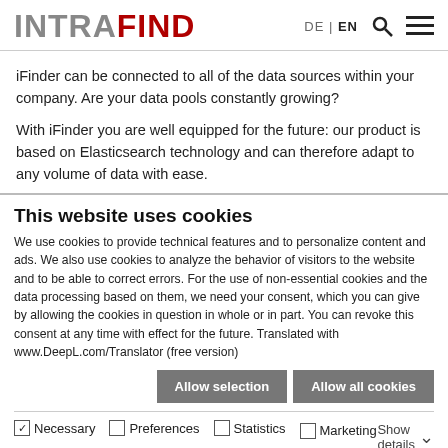INTRAFIND  DE | EN
iFinder can be connected to all of the data sources within your company. Are your data pools constantly growing?
With iFinder you are well equipped for the future: our product is based on Elasticsearch technology and can therefore adapt to any volume of data with ease.
This website uses cookies
We use cookies to provide technical features and to personalize content and ads. We also use cookies to analyze the behavior of visitors to the website and to be able to correct errors. For the use of non-essential cookies and the data processing based on them, we need your consent, which you can give by allowing the cookies in question in whole or in part. You can revoke this consent at any time with effect for the future. Translated with www.DeepL.com/Translator (free version)
Allow selection  Allow all cookies
Necessary  Preferences  Statistics  Marketing  Show details